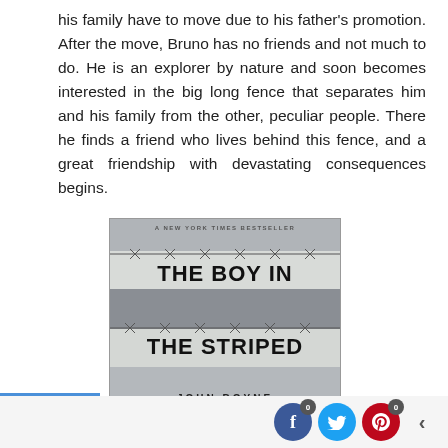his family have to move due to his father's promotion. After the move, Bruno has no friends and not much to do. He is an explorer by nature and soon becomes interested in the big long fence that separates him and his family from the other, peculiar people. There he finds a friend who lives behind this fence, and a great friendship with devastating consequences begins.
[Figure (illustration): Book cover of 'The Boy in the Striped' by John Boyne. A New York Times Bestseller label at top. Cover features horizontal stripes in grey and white tones with barbed wire imagery. Title text 'THE BOY IN' on upper section and 'THE STRIPED' on lower section in bold black text. Author name 'JOHN BOYNE' at bottom in spaced capitals.]